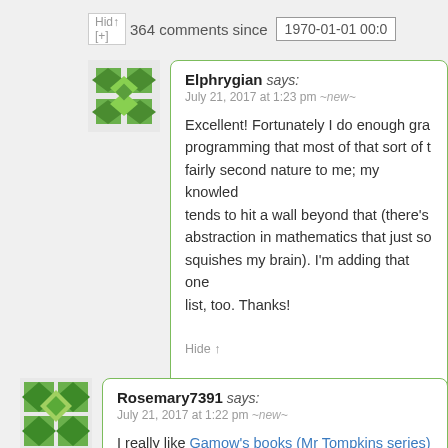Hide ↑  364 comments since  1970-01-01 00:0
Elphrygian says:
July 21, 2017 at 1:23 pm ~new~

Excellent! Fortunately I do enough grap programming that most of that sort of t fairly second nature to me; my knowled tends to hit a wall beyond that (there's abstraction in mathematics that just so squishes my brain). I'm adding that one list, too. Thanks!

Hide ↑
Rosemary7391 says:
July 21, 2017 at 1:22 pm ~new~

I really like Gamow's books (Mr Tompkins series) totally non mathsy explanations of ideas – very ge to read.